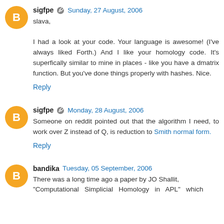sigfpe  Sunday, 27 August, 2006
slava,

I had a look at your code. Your language is awesome! (I've always liked Forth.) And I like your homology code. It's superfically similar to mine in places - like you have a dmatrix function. But you've done things properly with hashes. Nice.
Reply
sigfpe  Monday, 28 August, 2006
Someone on reddit pointed out that the algorithm I need, to work over Z instead of Q, is reduction to Smith normal form.
Reply
bandika  Tuesday, 05 September, 2006
There was a long time ago a paper by JO Shallit, "Computational Simplicial Homology in APL" which